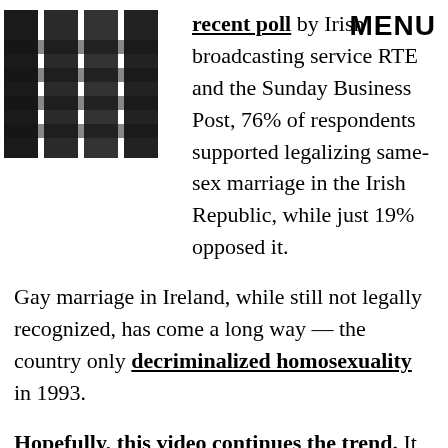MENU
recent poll by Irish broadcasting service RTE and the Sunday Business Post, 76% of respondents supported legalizing same-sex marriage in the Irish Republic, while just 19% opposed it.
Gay marriage in Ireland, while still not legally recognized, has come a long way — the country only decriminalized homosexuality in 1993.
Hopefully, this video continues the trend. It uses a trusty weapon — humor — to broach a serious and consequential topic relevant to millions of people. Given all the press it's gotten across the pond, we can only hope that the message reaches the most important people — those who hold the power to pass